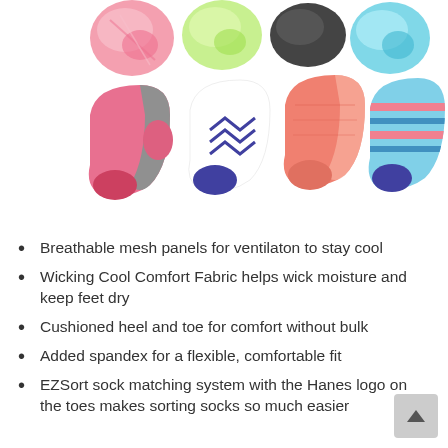[Figure (photo): Product photo showing 8 colorful Hanes ankle socks arranged in two rows. Top row shows 4 sock tops in pink tie-dye, lime green, black, and teal tie-dye patterns. Bottom row shows 4 pairs of no-show athletic socks: pink/gray, white/navy chevron, pink/coral marl, and blue/coral striped patterns.]
Breathable mesh panels for ventilaton to stay cool
Wicking Cool Comfort Fabric helps wick moisture and keep feet dry
Cushioned heel and toe for comfort without bulk
Added spandex for a flexible, comfortable fit
EZSort sock matching system with the Hanes logo on the toes makes sorting socks so much easier